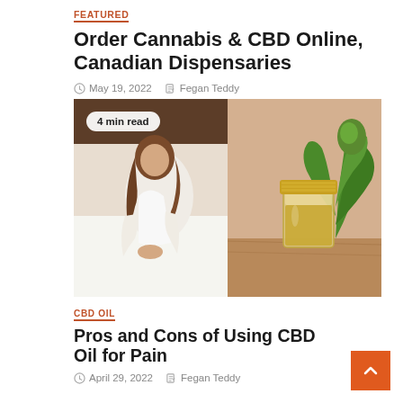FEATURED
Order Cannabis & CBD Online, Canadian Dispensaries
May 19, 2022   Fegan Teddy
[Figure (photo): Split image: left side shows a woman in a white robe sitting on a bed, right side shows a glass jar of CBD oil with a gold lid next to a cannabis plant. Badge reads '4 min read'.]
CBD OIL
Pros and Cons of Using CBD Oil for Pain
April 29, 2022   Fegan Teddy